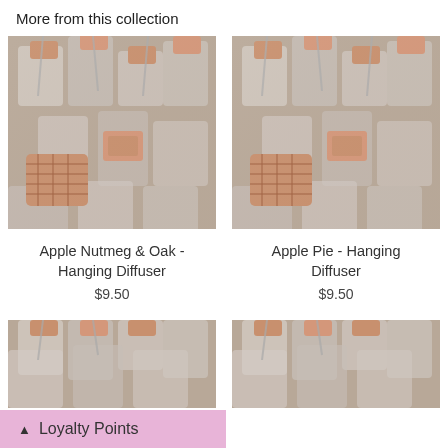More from this collection
[Figure (photo): Close-up photo of hanging diffusers with rose gold lattice caps and glass bottles with grey strings]
Apple Nutmeg & Oak - Hanging Diffuser
$9.50
[Figure (photo): Close-up photo of hanging diffusers with rose gold lattice caps and glass bottles with grey strings]
Apple Pie - Hanging Diffuser
$9.50
[Figure (photo): Partial close-up photo of hanging diffusers with rose gold caps, bottom of page]
[Figure (photo): Partial close-up photo of hanging diffusers with rose gold caps, bottom of page]
Loyalty Points